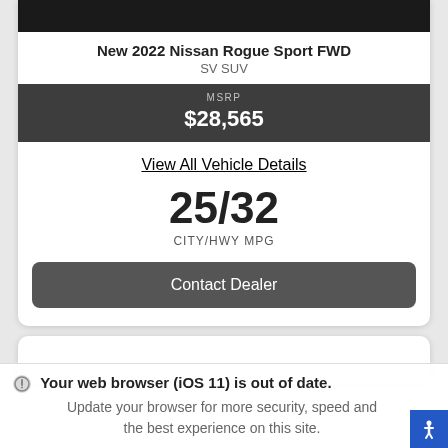New 2022 Nissan Rogue Sport FWD
SV SUV
MSRP $28,565
View All Vehicle Details
25/32 CITY/HWY MPG
Contact Dealer
Your web browser (iOS 11) is out of date. Update your browser for more security, speed and the best experience on this site.